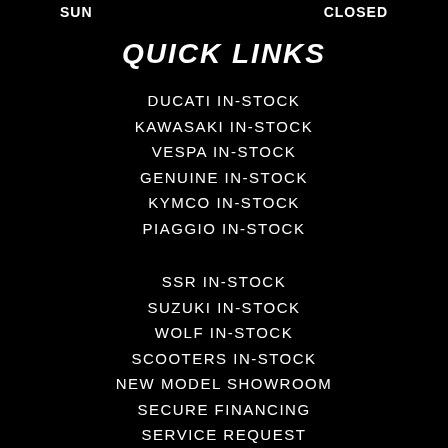SUN    CLOSED
QUICK LINKS
DUCATI IN-STOCK
KAWASAKI IN-STOCK
VESPA IN-STOCK
GENUINE IN-STOCK
KYMCO IN-STOCK
PIAGGIO IN-STOCK
SSR IN-STOCK
SUZUKI IN-STOCK
WOLF IN-STOCK
SCOOTERS IN-STOCK
NEW MODEL SHOWROOM
SECURE FINANCING
SERVICE REQUEST